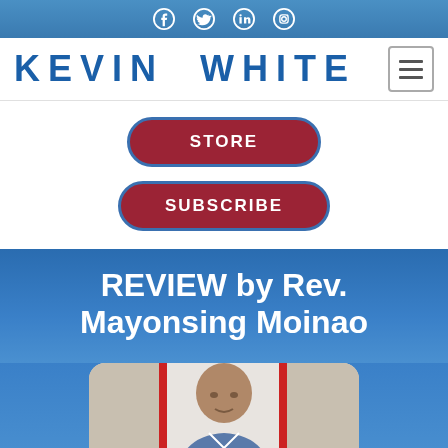Social media icons: Facebook, Twitter, LinkedIn, Instagram
KEVIN WHITE
STORE
SUBSCRIBE
REVIEW by Rev. Mayonsing Moinao
[Figure (photo): Portrait photo of Rev. Mayonsing Moinao, a man with a shaved head, shown from chest up, with a red and white background]